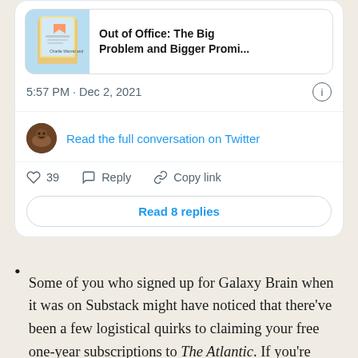[Figure (screenshot): Twitter/social media embed card showing a book titled 'Out of Office: The Big Problem and Bigger Promi...' with timestamp 5:57 PM · Dec 2, 2021, a 'Read the full conversation on Twitter' link, action buttons (39 likes, Reply, Copy link), and a 'Read 8 replies' button]
Some of you who signed up for Galaxy Brain when it was on Substack might have noticed that there've been a few logistical quirks to claiming your free one-year subscriptions to The Atlantic. If you're having problems, email galaxybrain@theatlantic.com or reply to this